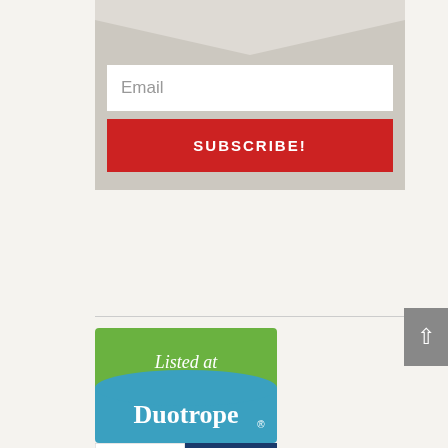[Figure (screenshot): Email subscription form with a white email input field and a red SUBSCRIBE! button, set on a gray/beige background with a decorative V-shape at the top]
[Figure (logo): Duotrope badge: green and blue badge with text 'Listed at Duotrope' and the registered trademark symbol]
[Figure (logo): Poets & Writers Literary badge, partially visible at bottom of page]